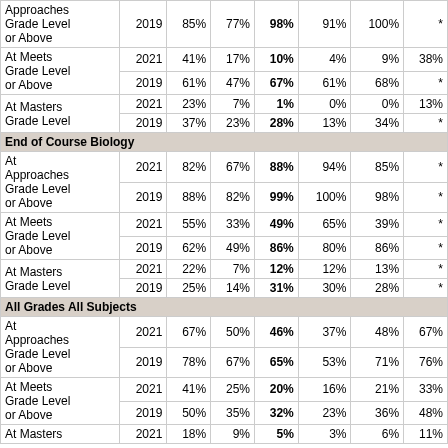| Performance Level | Year | Col1 | Col2 | Col3 | Col4 | Col5 | Col6 |
| --- | --- | --- | --- | --- | --- | --- | --- |
| Approaches Grade Level or Above | 2019 | 85% | 77% | 98% | 91% | 100% | * |
| At Meets Grade Level or Above | 2021 | 41% | 17% | 10% | 4% | 9% | 38% |
| At Meets Grade Level or Above | 2019 | 61% | 47% | 67% | 61% | 68% | * |
| At Masters Grade Level | 2021 | 23% | 7% | 1% | 0% | 0% | 13% |
| At Masters Grade Level | 2019 | 37% | 23% | 28% | 13% | 34% | * |
| End of Course Biology |  |  |  |  |  |  |  |
| At Approaches Grade Level or Above | 2021 | 82% | 67% | 88% | 94% | 85% | * |
| At Approaches Grade Level or Above | 2019 | 88% | 82% | 99% | 100% | 98% | * |
| At Meets Grade Level or Above | 2021 | 55% | 33% | 49% | 65% | 39% | * |
| At Meets Grade Level or Above | 2019 | 62% | 49% | 86% | 80% | 86% | * |
| At Masters Grade Level | 2021 | 22% | 7% | 12% | 12% | 13% | * |
| At Masters Grade Level | 2019 | 25% | 14% | 31% | 30% | 28% | * |
| All Grades All Subjects |  |  |  |  |  |  |  |
| At Approaches Grade Level or Above | 2021 | 67% | 50% | 46% | 37% | 48% | 67% |
| At Approaches Grade Level or Above | 2019 | 78% | 67% | 65% | 53% | 71% | 76% |
| At Meets Grade Level or Above | 2021 | 41% | 25% | 20% | 16% | 21% | 33% |
| At Meets Grade Level or Above | 2019 | 50% | 35% | 32% | 23% | 36% | 48% |
| At Masters | 2021 | 18% | 9% | 5% | 3% | 6% | 11% |